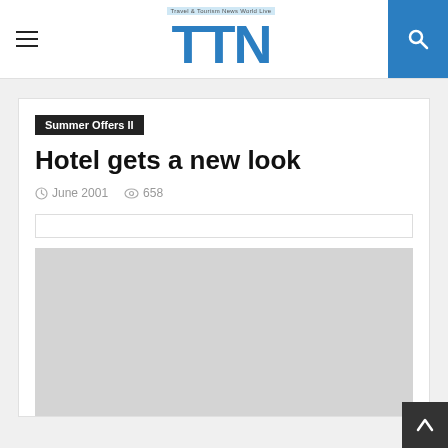TTN - Travel & Tourism News World Live
Summer Offers II
Hotel gets a new look
June 2001  658
[Figure (other): Gray placeholder image box for article content]
[Figure (other): Back to top arrow button in dark box]